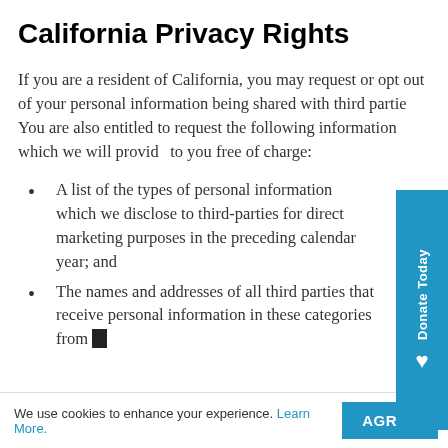California Privacy Rights
If you are a resident of California, you may request or opt out of your personal information being shared with third parties. You are also entitled to request the following information which we will provide to you free of charge:
A list of the types of personal information which we disclose to third-parties for direct marketing purposes in the preceding calendar year; and
The names and addresses of all third parties that receive personal information in these categories from us
We use cookies to enhance your experience. Learn More.